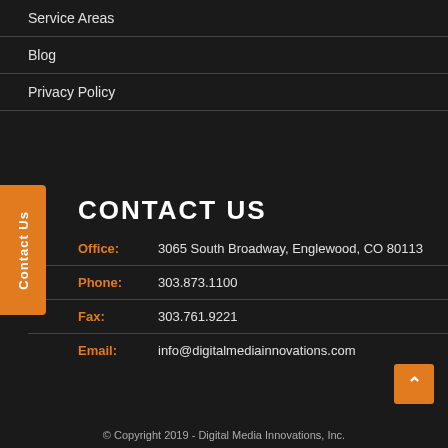Service Areas
Blog
Privacy Policy
CONTACT US
Office: 3065 South Broadway, Englewood, CO 80113
Phone: 303.873.1100
Fax: 303.761.9221
Email: info@digitalmediainnovations.com
© Copyright 2019 - Digital Media Innovations, Inc.